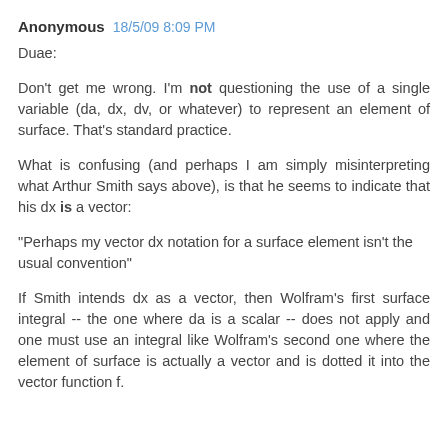Anonymous 18/5/09 8:09 PM
Duae:
Don't get me wrong. I'm not questioning the use of a single variable (da, dx, dv, or whatever) to represent an element of surface. That's standard practice.
What is confusing (and perhaps I am simply misinterpreting what Arthur Smith says above), is that he seems to indicate that his dx is a vector:
"Perhaps my vector dx notation for a surface element isn't the usual convention"
If Smith intends dx as a vector, then Wolfram's first surface integral -- the one where da is a scalar -- does not apply and one must use an integral like Wolfram's second one where the element of surface is actually a vector and is dotted it into the vector function f.